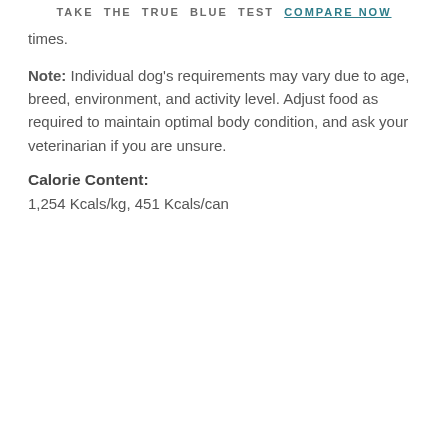TAKE THE TRUE BLUE TEST COMPARE NOW
times.
Note: Individual dog's requirements may vary due to age, breed, environment, and activity level. Adjust food as required to maintain optimal body condition, and ask your veterinarian if you are unsure.
Calorie Content:
1,254 Kcals/kg, 451 Kcals/can